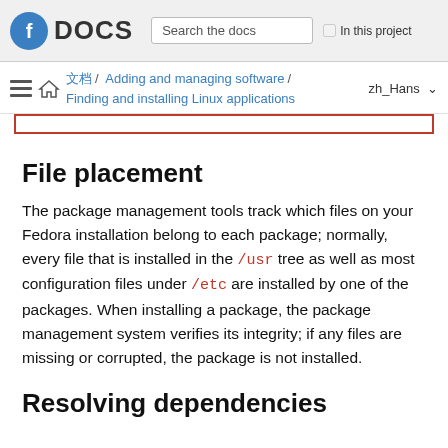Fedora DOCS — Search the docs — In this project
文档 / Adding and managing software / Finding and installing Linux applications — zh_Hans
File placement
The package management tools track which files on your Fedora installation belong to each package; normally, every file that is installed in the /usr tree as well as most configuration files under /etc are installed by one of the packages. When installing a package, the package management system verifies its integrity; if any files are missing or corrupted, the package is not installed.
Resolving dependencies